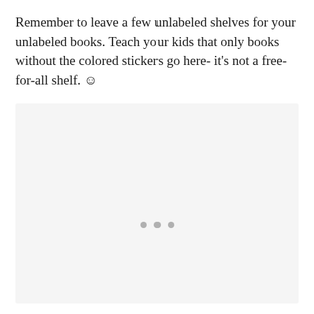Remember to leave a few unlabeled shelves for your unlabeled books. Teach your kids that only books without the colored stickers go here- it's not a free-for-all shelf. ☺
[Figure (other): A light gray placeholder image box with three small gray dots centered in the lower-middle area, indicating a loading or placeholder image.]